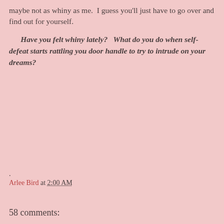maybe not as whiny as me.  I guess you'll just have to go over and find out for yourself.
Have you felt whiny lately?   What do you do when self-defeat starts rattling you door handle to try to intrude on your dreams?
.
Arlee Bird at 2:00 AM
Share
58 comments: